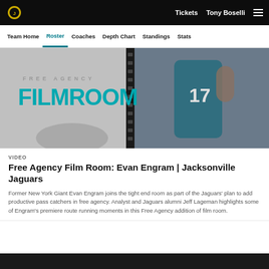Tickets  Tony Boselli  ≡
Team Home  Roster  Coaches  Depth Chart  Standings  Stats
[Figure (photo): Hero banner image showing a Jacksonville Jaguars player wearing number 17 running, with 'FREE AGENCY FILMROOM' text overlay on the left side of the image]
VIDEO
Free Agency Film Room: Evan Engram | Jacksonville Jaguars
Former New York Giant Evan Engram joins the tight end room as part of the Jaguars' plan to add productive pass catchers in free agency. Analyst and Jaguars alumni Jeff Lageman highlights some of Engram's premiere route running moments in this Free Agency addition of film room.